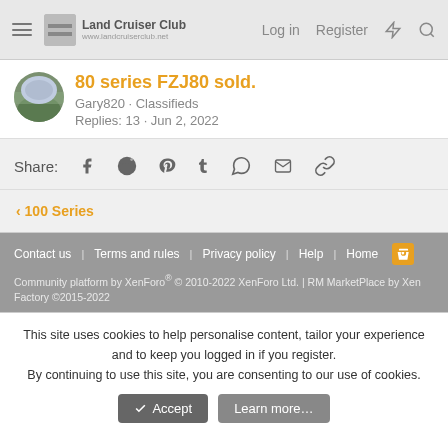Land Cruiser Club | Log in | Register
80 series FZJ80 sold.
Gary820 · Classifieds
Replies: 13 · Jun 2, 2022
Share: [social icons: Facebook, Reddit, Pinterest, Tumblr, WhatsApp, Email, Link]
< 100 Series
Contact us | Terms and rules | Privacy policy | Help | Home | [RSS]
Community platform by XenForo® © 2010-2022 XenForo Ltd. | RM MarketPlace by Xen Factory ©2015-2022
This site uses cookies to help personalise content, tailor your experience and to keep you logged in if you register. By continuing to use this site, you are consenting to our use of cookies.
✓ Accept | Learn more...